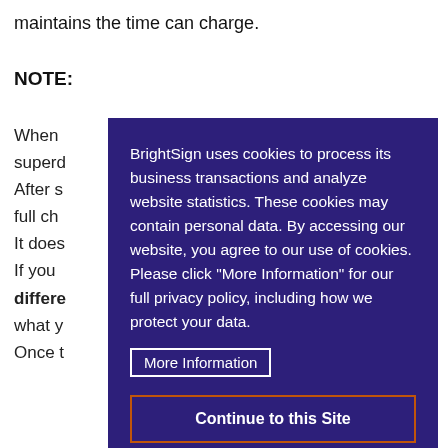maintains the time can charge.
NOTE:
When ... ke
superd ...
After s ... p
full ch ...
It does ...
If you ... ti
differe ... wi
what y ...
Once t ... d
[Figure (screenshot): Cookie consent overlay with purple background. Text: 'BrightSign uses cookies to process its business transactions and analyze website statistics. These cookies may contain personal data. By accessing our website, you agree to our use of cookies. Please click "More Information" for our full privacy policy, including how we protect your data.' A 'More Information' link button and a 'Continue to this Site' button with orange border.]